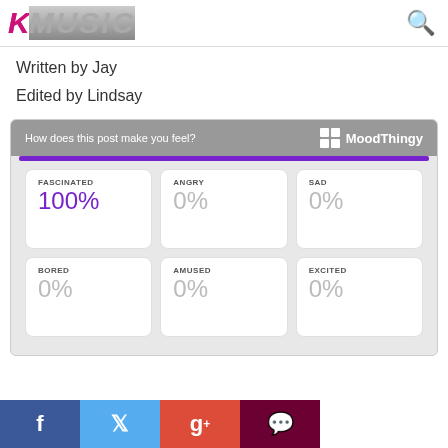KMUSIC
Written by Jay
Edited by Lindsay
[Figure (infographic): MoodThingy widget showing 'How does this post make you feel?' with six mood cards: FASCINATED 100% (purple), ANGRY 0%, SAD 0%, BORED 0%, AMUSED 0%, EXCITED 0%]
[Figure (infographic): Social sharing bar with Facebook, Twitter, Google+, and comment buttons]